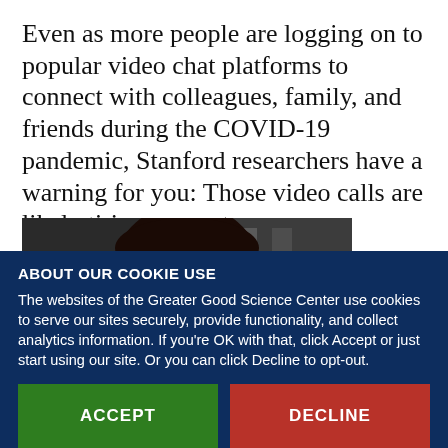Even as more people are logging on to popular video chat platforms to connect with colleagues, family, and friends during the COVID-19 pandemic, Stanford researchers have a warning for you: Those video calls are likely tiring you out.
[Figure (photo): A woman with long dark hair and glasses looking down at a screen, appearing fatigued or stressed, in a dimly lit environment.]
ABOUT OUR COOKIE USE
The websites of the Greater Good Science Center use cookies to serve our sites securely, provide functionality, and collect analytics information. If you're OK with that, click Accept or just start using our site. Or you can click Decline to opt-out.
ACCEPT
DECLINE